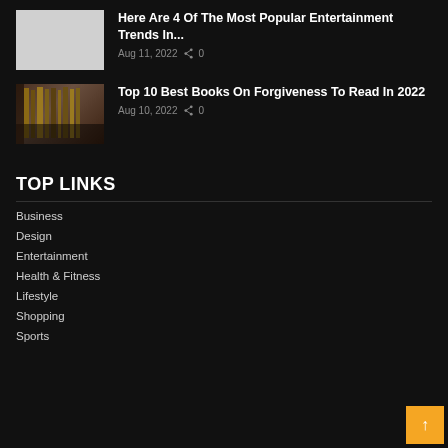[Figure (photo): Thumbnail placeholder (grey/white box) for entertainment trends article]
Here Are 4 Of The Most Popular Entertainment Trends In...
Aug 11, 2022  0
[Figure (photo): Thumbnail photo of books on a shelf by a window, brownish tones]
Top 10 Best Books On Forgiveness To Read In 2022
Aug 10, 2022  0
TOP LINKS
Business
Design
Entertainment
Health & Fitness
Lifestyle
Shopping
Sports